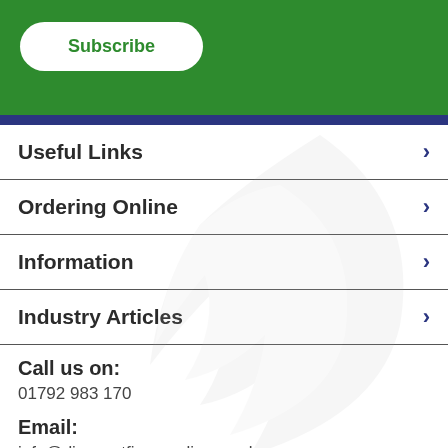[Figure (other): Green background section with a white rounded Subscribe button]
Useful Links
Ordering Online
Information
Industry Articles
Call us on: 01792 983 170
Email: info@discountfiresupplies.co.uk
Address: